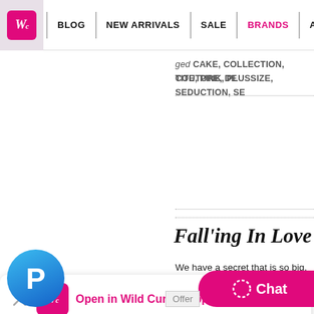WC | BLOG | NEW ARRIVALS | SALE | BRANDS | ACCESSORIES
ged CAKE, COLLECTION, COUTURE, DE
TITE, PINK, PLUSSIZE, SEDUCTION, SE
Fall'ing In Love For
We have a secret that is so big, so made a grand entrance on the wor
know your appe... course is filled... renowned Cathedral: Notre
Open in Wild Curves app